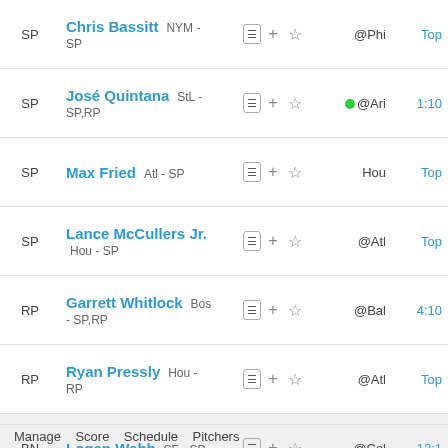| Pos | Player | Icons | Matchup | Time |
| --- | --- | --- | --- | --- |
| SP | Chris Bassitt NYM - SP | ☰ + ☆ | @Phi | Top |
| SP | José Quintana StL - SP,RP | ☰ + ☆ | ●@Ari | 1:10 |
| SP | Max Fried Atl - SP | ☰ + ☆ | Hou | Top |
| SP | Lance McCullers Jr. Hou - SP | ☰ + ☆ | @Atl | Top |
| RP | Garrett Whitlock Bos - SP,RP | ☰ + ☆ | @Bal | 4:10 |
| RP | Ryan Pressly Hou - RP | ☰ + ☆ | @Atl | Top |
| BN | Logan Webb SF - SP | ☰ + ☆ | @Col | 12:1 |
| BN | Jordan Montgomery StL - SP | ☰ + ☆ | @Ari | 1:10 |
Starting Lineup Totals
Legend    Stats    Positions
Manage   Score   Schedule   Pitchers